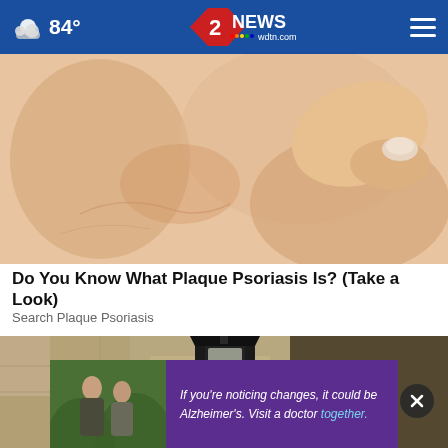84° | 2 NEWS wdtn.com
[Figure (photo): Close-up photo of skin showing psoriasis or skin condition, with a hand visible]
Do You Know What Plaque Psoriasis Is? (Take a Look)
Search Plaque Psoriasis
[Figure (photo): Outdoor lantern/light fixture mounted on stone wall, with a light bulb visible]
If you're noticing changes, it could be Alzheimer's. Visit a doctor together.